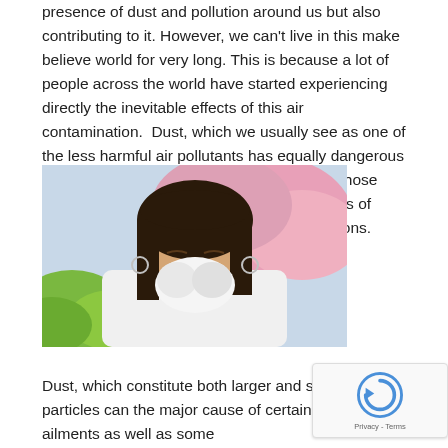presence of dust and pollution around us but also contributing to it. However, we can't live in this make believe world for very long. This is because a lot of people across the world have started experiencing directly the inevitable effects of this air contamination.  Dust, which we usually see as one of the less harmful air pollutants has equally dangerous effect on us. We will take a look at some of those harms in this article and what are the sources of production of dust and the possible preventions.
[Figure (photo): A young woman with dark hair blowing her nose into a white tissue, with pink blossoming flowers and green foliage in the background, suggesting an allergy or dust-related ailment.]
Dust, which constitute both larger and smaller particles can the major cause of certain minor ailments as well as some